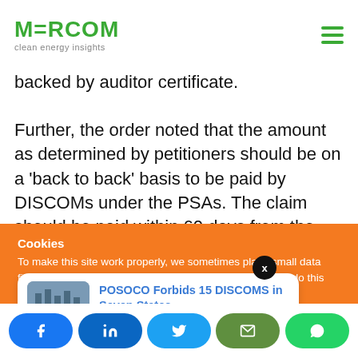MERCOM clean energy insights
backed by auditor certificate.
Further, the order noted that the amount as determined by petitioners should be on a ‘back to back’ basis to be paid by DISCOMs under the PSAs. The claim should be paid within 60 days from the date of the Commission’s order failing which it would
Cookies
To make this site work properly, we sometimes place small data files called cookies on your device. Most big websites do this too.
POSOCO Forbids 15 DISCOMS in Seven States
24 hours ago